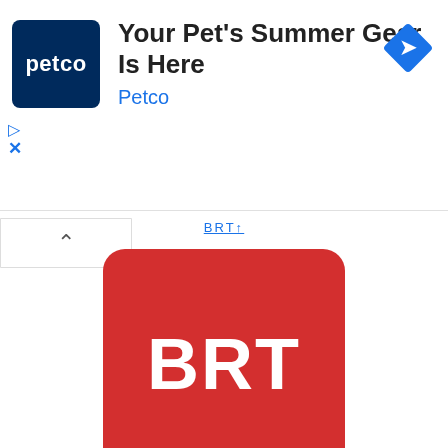[Figure (screenshot): Petco advertisement banner with Petco logo (dark blue square with 'petco' text), headline 'Your Pet's Summer Gear Is Here', subtext 'Petco' in blue, and a blue diamond navigation icon on the right. Play and close (X) controls on the left.]
BRT↑
[Figure (logo): BRT Bartolini logo: red rounded square with white bold text 'BRT']
BRT Bartolini(Parcel ID)
[Figure (logo): Holisol logo: dark blue rounded square with a green flower/ring ornamental icon]
Holisol
[Figure (logo): Partial third logo: dark gray rounded square with orange/yellow triangle shape visible at top, partially cut off at bottom]